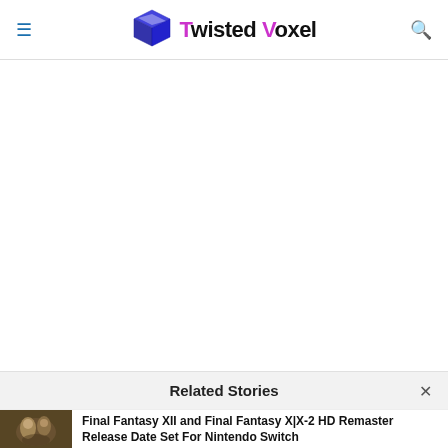Twisted Voxel
Related Stories
Final Fantasy XII and Final Fantasy X|X-2 HD Remaster Release Date Set For Nintendo Switch